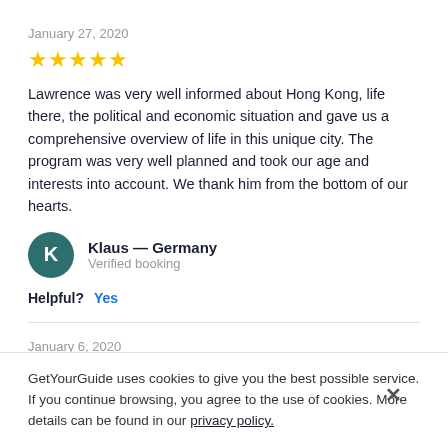January 27, 2020
[Figure (other): 5 yellow stars rating]
Lawrence was very well informed about Hong Kong, life there, the political and economic situation and gave us a comprehensive overview of life in this unique city. The program was very well planned and took our age and interests into account. We thank him from the bottom of our hearts.
Klaus — Germany
Verified booking
Helpful?  Yes
January 6, 2020
[Figure (other): 5 yellow stars rating (partially visible)]
GetYourGuide uses cookies to give you the best possible service. If you continue browsing, you agree to the use of cookies. More details can be found in our privacy policy.